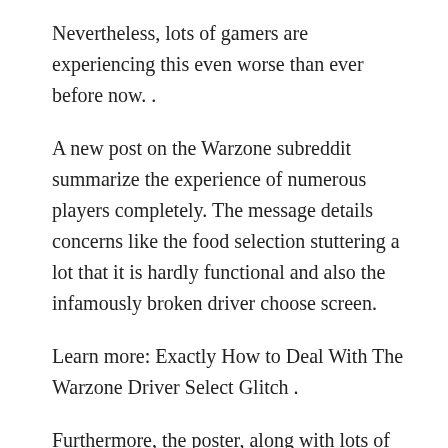Nevertheless, lots of gamers are experiencing this even worse than ever before now. .
A new post on the Warzone subreddit summarize the experience of numerous players completely. The message details concerns like the food selection stuttering a lot that it is hardly functional and also the infamously broken driver choose screen.
Learn more: Exactly How to Deal With The Warzone Driver Select Glitch .
Furthermore, the poster, along with lots of various other players believe that the connection as well as lag in Warzone suits have likewise gotten even worse